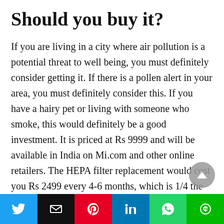Should you buy it?
If you are living in a city where air pollution is a potential threat to well being, you must definitely consider getting it. If there is a pollen alert in your area, you must definitely consider this. If you have a hairy pet or living with someone who smoke, this would definitely be a good investment. It is priced at Rs 9999 and will be available in India on Mi.com and other online retailers. The HEPA filter replacement would cost you Rs 2499 every 4-6 months, which is 1/4 the price of the purifier itself. You can clean the out filter and get a bit more time for it, but eventually you have to be replacing